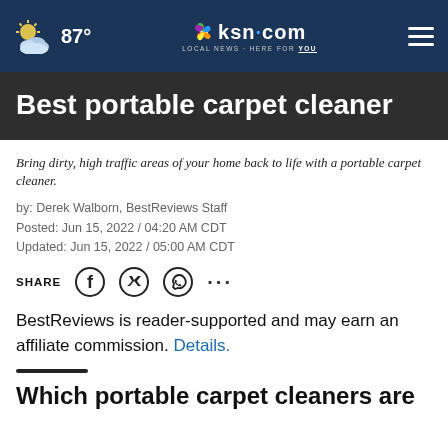87° | ksn.com LOCAL NEWS · HERE FOR YOU
Best portable carpet cleaner
Bring dirty, high traffic areas of your home back to life with a portable carpet cleaner.
by: Derek Walborn, BestReviews Staff
Posted: Jun 15, 2022 / 04:20 AM CDT
Updated: Jun 15, 2022 / 05:00 AM CDT
SHARE
BestReviews is reader-supported and may earn an affiliate commission. Details.
Which portable carpet cleaners are